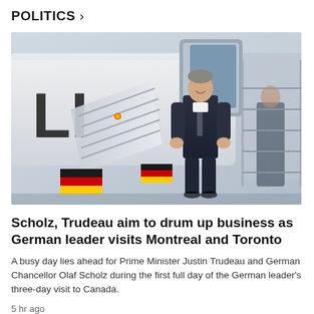POLITICS >
[Figure (photo): German Chancellor Olaf Scholz descending aircraft stairs in a dark suit, with German flag colors (black, red, gold) visible on the stairs. Aircraft with partial 'LI' lettering visible in background.]
Scholz, Trudeau aim to drum up business as German leader visits Montreal and Toronto
A busy day lies ahead for Prime Minister Justin Trudeau and German Chancellor Olaf Scholz during the first full day of the German leader's three-day visit to Canada.
5 hr ago